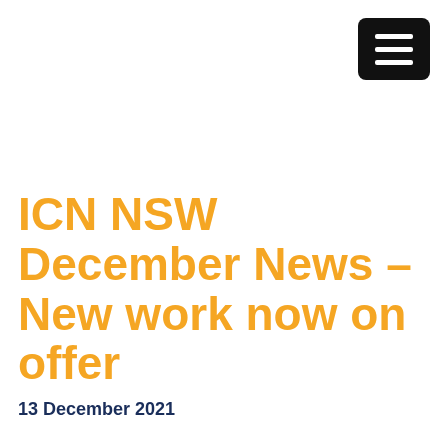[Figure (other): Hamburger menu button icon — black rounded rectangle with three white horizontal lines]
ICN NSW December News – New work now on offer
13 December 2021